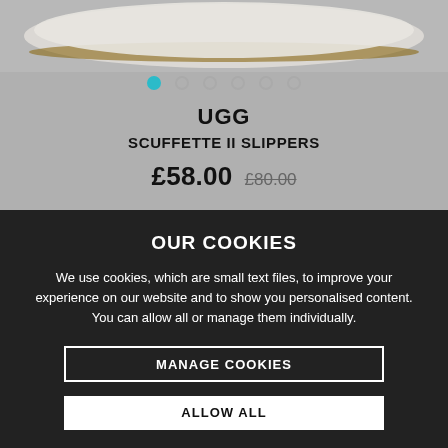[Figure (photo): Top portion of UGG Scuffette II Slippers product image on grey background with image carousel dots]
UGG
SCUFFETTE II SLIPPERS
£58.00  £80.00
OUR COOKIES
We use cookies, which are small text files, to improve your experience on our website and to show you personalised content. You can allow all or manage them individually.
MANAGE COOKIES
ALLOW ALL